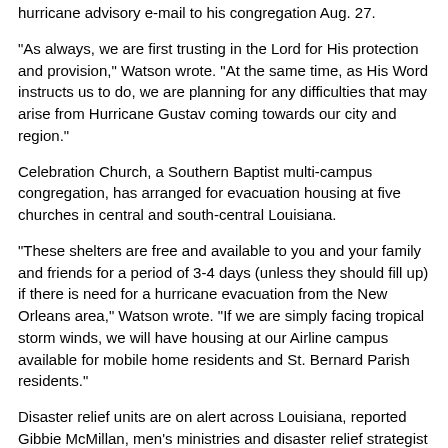hurricane advisory e-mail to his congregation Aug. 27.
“As always, we are first trusting in the Lord for His protection and provision,” Watson wrote. “At the same time, as His Word instructs us to do, we are planning for any difficulties that may arise from Hurricane Gustav coming towards our city and region.”
Celebration Church, a Southern Baptist multi-campus congregation, has arranged for evacuation housing at five churches in central and south-central Louisiana.
“These shelters are free and available to you and your family and friends for a period of 3-4 days (unless they should fill up) if there is need for a hurricane evacuation from the New Orleans area,” Watson wrote. “If we are simply facing tropical storm winds, we will have housing at our Airline campus available for mobile home residents and St. Bernard Parish residents.”
Disaster relief units are on alert across Louisiana, reported Gibbie McMillan, men’s ministries and disaster relief strategist for the Louisiana Baptist Convention.